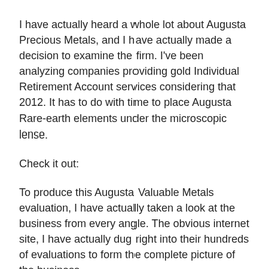I have actually heard a whole lot about Augusta Precious Metals, and I have actually made a decision to examine the firm. I've been analyzing companies providing gold Individual Retirement Account services considering that 2012. It has to do with time to place Augusta Rare-earth elements under the microscopic lense.
Check it out:
To produce this Augusta Valuable Metals evaluation, I have actually taken a look at the business from every angle. The obvious internet site, I have actually dug right into their hundreds of evaluations to form the complete picture of the business.